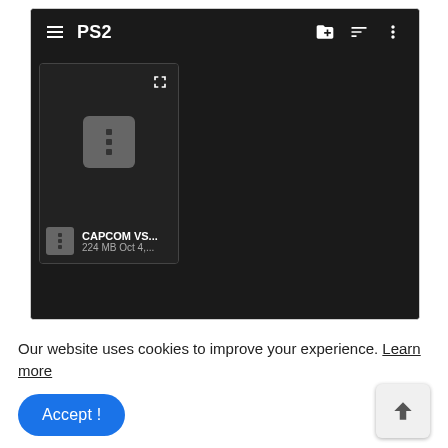[Figure (screenshot): Screenshot of a file manager app showing a dark-themed UI with toolbar labeled 'PS2', hamburger menu, folder add icon, sort icon, and three-dot menu icon. A file card shows a zip file named 'CAPCOM VS...' with size '224 MB Oct 4,...']
Our website uses cookies to improve your experience. Learn more
Accept !